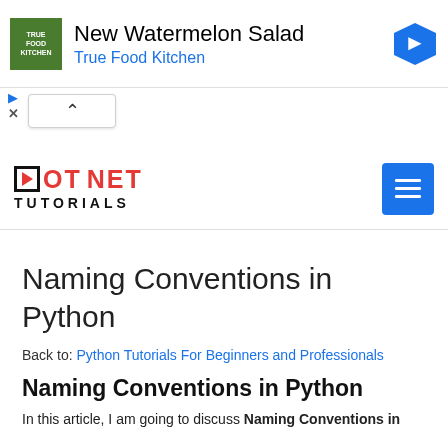[Figure (other): Advertisement banner for True Food Kitchen - New Watermelon Salad with logo and navigation icon]
[Figure (other): Dot Net Tutorials website logo with menu button]
Naming Conventions in Python
Back to: Python Tutorials For Beginners and Professionals
Naming Conventions in Python
In this article, I am going to discuss Naming Conventions in